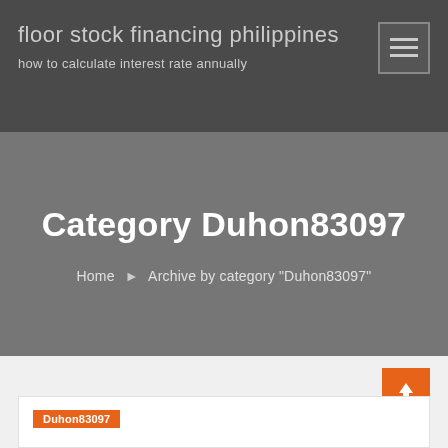floor stock financing philippines
how to calculate interest rate annually
Category Duhon83097
Home  »  Archive by category "Duhon83097"
Duhon83097